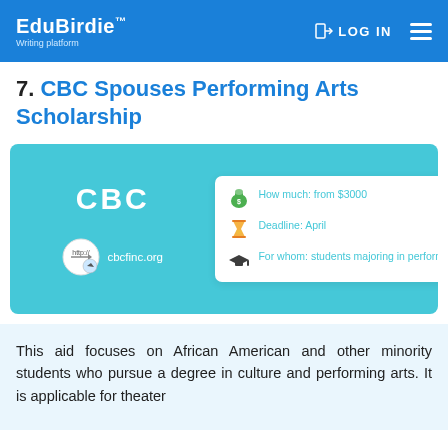EduBirdie™ Writing platform | LOG IN
7. CBC Spouses Performing Arts Scholarship
[Figure (infographic): Teal/cyan info card showing CBC logo on left with cbcfinc.org URL, and a white info box on the right listing: How much: from $3000, Deadline: April, For whom: students majoring in performing arts disciplines]
This aid focuses on African American and other minority students who pursue a degree in culture and performing arts. It is applicable for theater